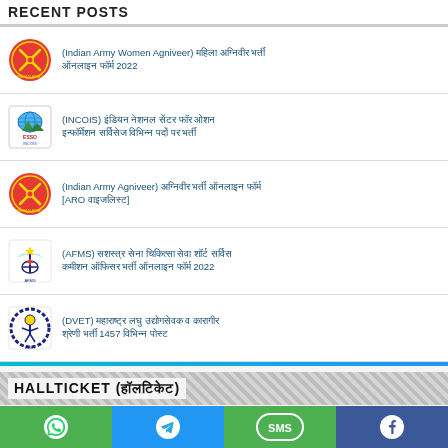RECENT POSTS
(Indian Army Women Agniveer) महिला अग्निवीर भर्ती ऑनलाइन फॉर्म 2022
(INCOIS) इंडियन नेशनल सेंटर फॉर ओशन इन्फॉर्मेशन सर्विसेज विभिन्न पदों पर भर्ती
(Indian Army Agniveer) अग्निवीर भर्ती ऑनलाइन फॉर्म [ARO वाइजलिस्ट]
(AFMS) सशस्त्र सेना चिकित्सा सेवा शॉर्ट सर्विस कमीशन ऑफिसर भर्ती ऑनलाइन फॉर्म 2022
(DVET) महाराष्ट्र लघु उद्योगसेवक व कारागीर श्रेणी भर्ती 1457 विभिन्न पोस्ट
HALLTICKET (हॉलटिकेट)
♦ NEW  BARC – भाभा परमाणु अनुसंधान केंद्र विभिन्न पदों पर भर्ती [01/2022 (NRB)]